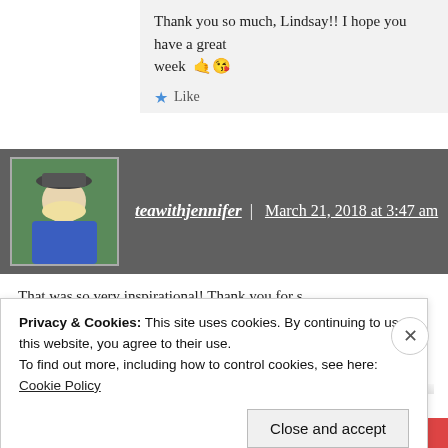Thank you so much, Lindsay!! I hope you have a great week 🤙😘
★ Like
teawithjennifer | March 21, 2018 at 3:47 am
That was so very inspirational! Thank you for sharing this interview with us.
I have two grandchildren born with congenital...
Privacy & Cookies: This site uses cookies. By continuing to use this website, you agree to their use.
To find out more, including how to control cookies, see here: Cookie Policy
Close and accept